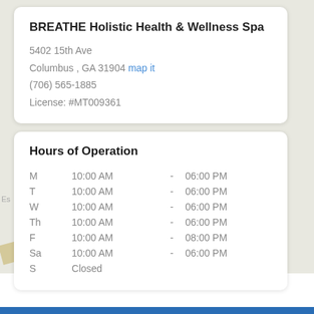BREATHE Holistic Health & Wellness Spa
5402 15th Ave
Columbus , GA 31904 map it
(706) 565-1885
License: #MT009361
Hours of Operation
| Day | Open |  | Close |
| --- | --- | --- | --- |
| M | 10:00 AM | - | 06:00 PM |
| T | 10:00 AM | - | 06:00 PM |
| W | 10:00 AM | - | 06:00 PM |
| Th | 10:00 AM | - | 06:00 PM |
| F | 10:00 AM | - | 08:00 PM |
| Sa | 10:00 AM | - | 06:00 PM |
| S | Closed |  |  |